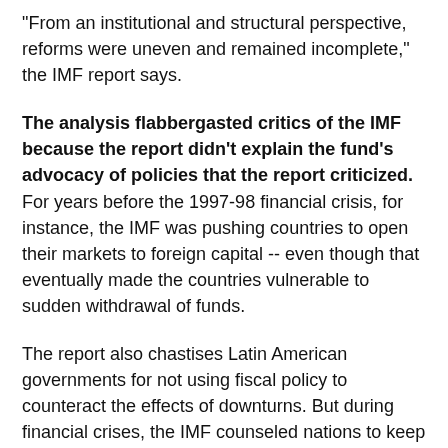"From an institutional and structural perspective, reforms were uneven and remained incomplete," the IMF report says.
The analysis flabbergasted critics of the IMF because the report didn't explain the fund's advocacy of policies that the report criticized. For years before the 1997-98 financial crisis, for instance, the IMF was pushing countries to open their markets to foreign capital -- even though that eventually made the countries vulnerable to sudden withdrawal of funds.
The report also chastises Latin American governments for not using fiscal policy to counteract the effects of downturns. But during financial crises, the IMF counseled nations to keep interest rates high and budgets tight as a way to protect their currency and limit inflation, even though that may have worsened recessions.
"What a whitewash," said Joseph Stiglitz, a